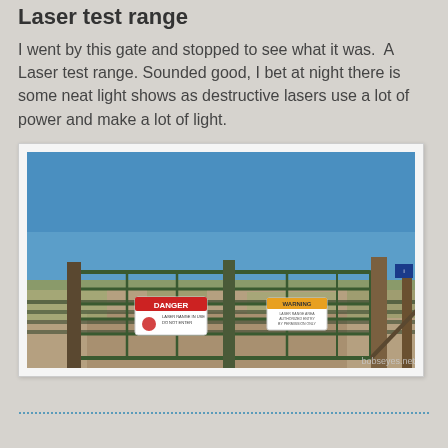Laser test range
I went by this gate and stopped to see what it was.  A Laser test range. Sounded good, I bet at night there is some neat light shows as destructive lasers use a lot of power and make a lot of light.
[Figure (photo): A green metal ranch gate with DANGER and WARNING signs attached, blocking a gravel road in an arid desert landscape under a clear blue sky. A watermark 'bobseyes.net' appears in the lower right corner.]